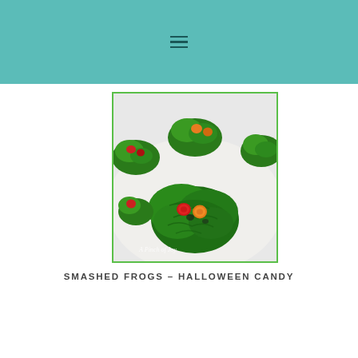[Figure (photo): Green candy clusters made with chow mein noodles coated in green chocolate, topped with colorful candy-coated chocolates (red and orange M&Ms visible), arranged on a white plate. Multiple clusters visible, with one large cluster in the foreground. Watermark reads 'A Pinch of Joy'.]
SMASHED FROGS – HALLOWEEN CANDY